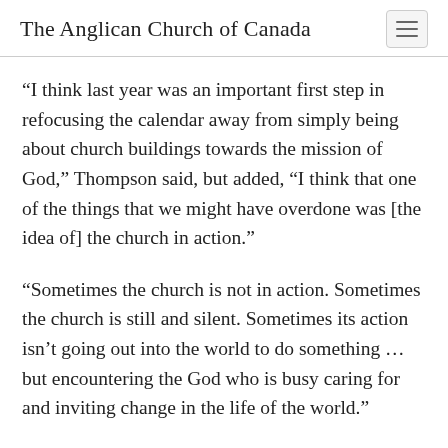The Anglican Church of Canada
“I think last year was an important first step in refocusing the calendar away from simply being about church buildings towards the mission of God,” Thompson said, but added, “I think that one of the things that we might have overdone was [the idea of] the church in action.”
“Sometimes the church is not in action. Sometimes the church is still and silent. Sometimes its action isn’t going out into the world to do something … but encountering the God who is busy caring for and inviting change in the life of the world.”